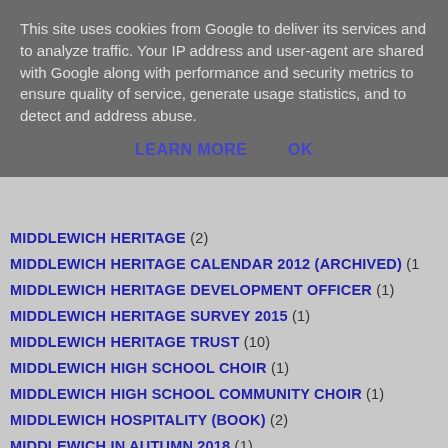This site uses cookies from Google to deliver its services and to analyze traffic. Your IP address and user-agent are shared with Google along with performance and security metrics to ensure quality of service, generate usage statistics, and to detect and address abuse.
LEARN MORE   OK
MIDDLEWICH HERITAGE (2)
MIDDLEWICH HERITAGE CALENDAR 2012 (ARCHIVED) (1
MIDDLEWICH HERITAGE DEVELOPMENT OFFICER (1)
MIDDLEWICH HERITAGE SURVEY 2015 (1)
MIDDLEWICH HERITAGE TRUST (10)
MIDDLEWICH HIGH SCHOOL CHOIR (1)
MIDDLEWICH HIGH SCHOOL COMMUNITY CHOIR (1)
MIDDLEWICH HOSPITALITY (BOOK) (2)
MIDDLEWICH IN AUTUMN 2018 (1)
MIDDLEWICH IN THE 1920s (2)
MIDDLEWICH IN WINTER 2017 (1)